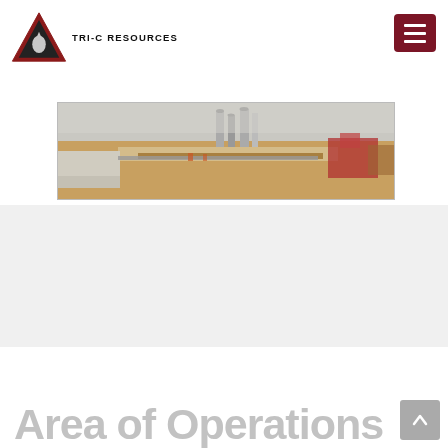[Figure (logo): Tri-C Resources logo: red/black triangle with oil drop and company name]
[Figure (photo): Panoramic photo of an oil and gas field operations site showing pipelines, storage tanks, industrial equipment on flat terrain under overcast sky]
Area of Operations